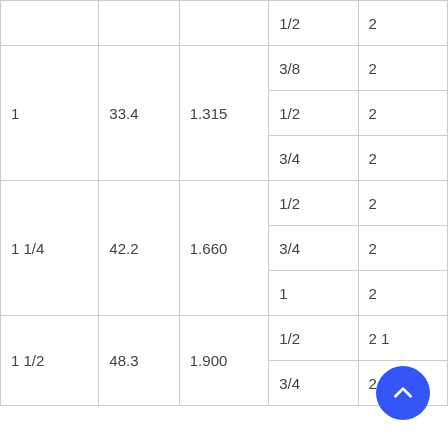|  |  |  |  |  |
| --- | --- | --- | --- | --- |
|  |  |  | 1/2 | 2 |
| 1 | 33.4 | 1.315 | 3/8 | 2 |
|  |  |  | 1/2 | 2 |
|  |  |  | 3/4 | 2 |
| 1 1/4 | 42.2 | 1.660 | 1/2 | 2 |
|  |  |  | 3/4 | 2 |
|  |  |  | 1 | 2 |
| 1 1/2 | 48.3 | 1.900 | 1/2 | 2 1 |
|  |  |  | 3/4 | 2 1/2 |